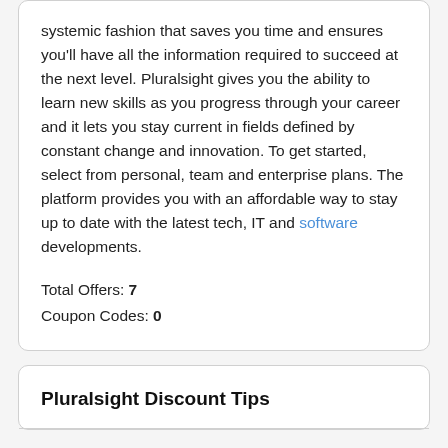systemic fashion that saves you time and ensures you'll have all the information required to succeed at the next level. Pluralsight gives you the ability to learn new skills as you progress through your career and it lets you stay current in fields defined by constant change and innovation. To get started, select from personal, team and enterprise plans. The platform provides you with an affordable way to stay up to date with the latest tech, IT and software developments.
Total Offers: 7
Coupon Codes: 0
Pluralsight Discount Tips